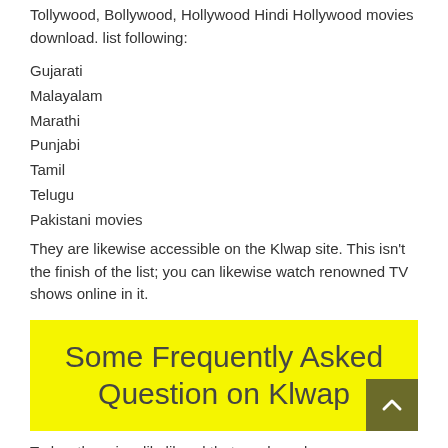Tollywood, Bollywood, Hollywood Hindi Hollywood movies download. list following:
Gujarati
Malayalam
Marathi
Punjabi
Tamil
Telugu
Pakistani movies
They are likewise accessible on the Klwap site. This isn't the finish of the list; you can likewise watch renowned TV shows online in it.
Some Frequently Asked Question on Klwap
Today, there is a likelihood that you have known